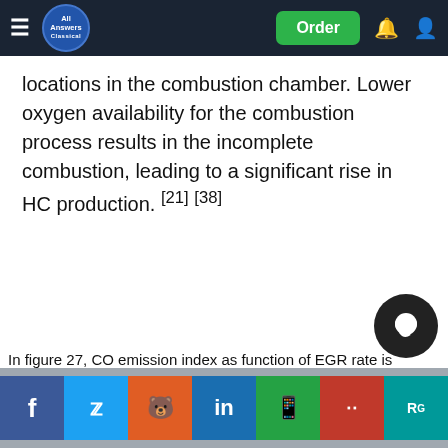All Answers | Order
locations in the combustion chamber. Lower oxygen availability for the combustion process results in the incomplete combustion, leading to a significant rise in HC production. [21] [38]
In figure 27, CO emission index as function of EGR rate is